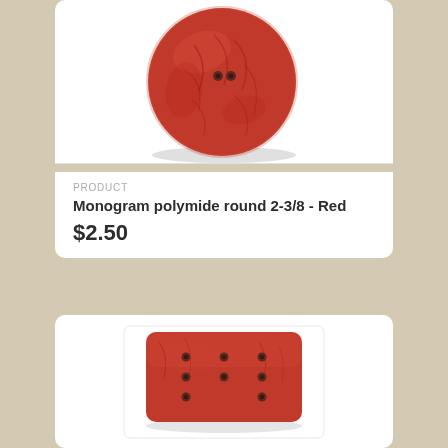[Figure (photo): Large red round decorative button with embossed leaf/floral pattern and two holes in center, shown on white background]
PRODUCT
Monogram polymide round 2-3/8 - Red
$2.50
[Figure (photo): Red rectangular button with 8 holes arranged in a grid pattern, shown on white background]